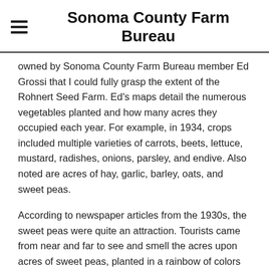Sonoma County Farm Bureau
owned by Sonoma County Farm Bureau member Ed Grossi that I could fully grasp the extent of the Rohnert Seed Farm. Ed's maps detail the numerous vegetables planted and how many acres they occupied each year. For example, in 1934, crops included multiple varieties of carrots, beets, lettuce, mustard, radishes, onions, parsley, and endive. Also noted are acres of hay, garlic, barley, oats, and sweet peas.
According to newspaper articles from the 1930s, the sweet peas were quite an attraction. Tourists came from near and far to see and smell the acres upon acres of sweet peas, planted in a rainbow of colors that